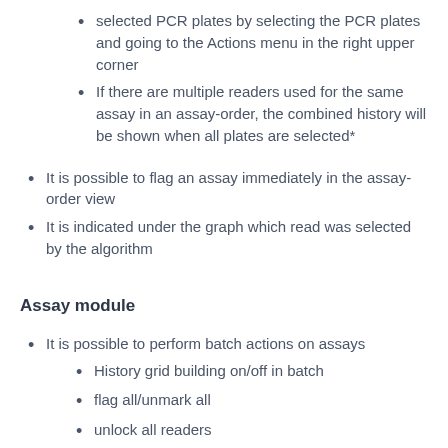selected PCR plates by selecting the PCR plates and going to the Actions menu in the right upper corner
If there are multiple readers used for the same assay in an assay-order, the combined history will be shown when all plates are selected*
It is possible to flag an assay immediately in the assay-order view
It is indicated under the graph which read was selected by the algorithm
Assay module
It is possible to perform batch actions on assays
History grid building on/off in batch
flag all/unmark all
unlock all readers